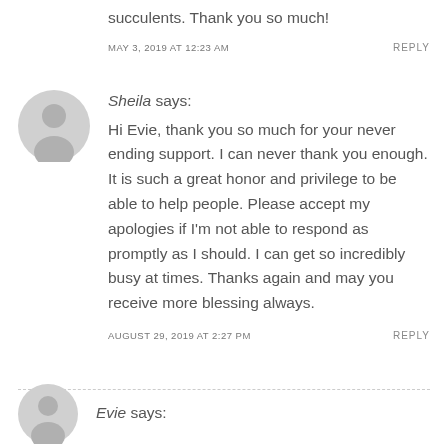succulents. Thank you so much!
MAY 3, 2019 AT 12:23 AM
REPLY
[Figure (illustration): Generic grey avatar/profile placeholder icon showing a silhouette of a person]
Sheila says:
Hi Evie, thank you so much for your never ending support. I can never thank you enough. It is such a great honor and privilege to be able to help people. Please accept my apologies if I'm not able to respond as promptly as I should. I can get so incredibly busy at times. Thanks again and may you receive more blessing always.
AUGUST 29, 2019 AT 2:27 PM
REPLY
[Figure (illustration): Generic grey avatar/profile placeholder icon showing a silhouette of a person, partially visible at bottom]
Evie says: